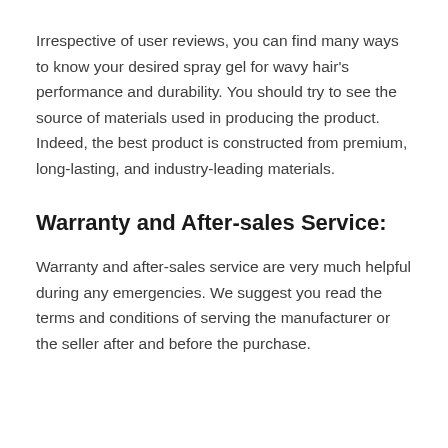Irrespective of user reviews, you can find many ways to know your desired spray gel for wavy hair's performance and durability. You should try to see the source of materials used in producing the product. Indeed, the best product is constructed from premium, long-lasting, and industry-leading materials.
Warranty and After-sales Service:
Warranty and after-sales service are very much helpful during any emergencies. We suggest you read the terms and conditions of serving the manufacturer or the seller after and before the purchase.